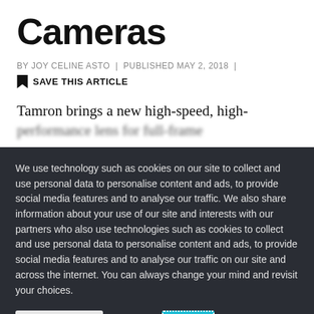Cameras
BY JOY CELINE ASTO  |  PUBLISHED MAY 2, 2018  |
SAVE THIS ARTICLE
Tamron brings a new high-speed, high-
We use technology such as cookies on our site to collect and use personal data to personalise content and ads, to provide social media features and to analyse our traffic. We also share information about your use of our site and interests with our partners who also use technologies such as cookies to collect and use personal data to personalise content and ads, to provide social media features and to analyse our traffic on our site and across the internet. You can always change your mind and revisit your choices.
Manage Options
I Accept